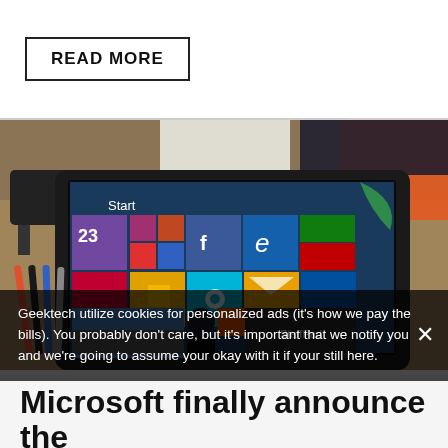READ MORE
[Figure (photo): Microsoft Surface tablet showing Windows 8 Start screen with colorful tiles including Crossword and StaffPad apps, propped on a stand on a wooden desk with stylus pens, a charger, and an orange cover in the background]
Geektech utilize cookies for personalized ads (it's how we pay the bills). You probably don't care, but it's important that we notify you and we're going to assume your okay with it if your still here.
Microsoft finally announce the